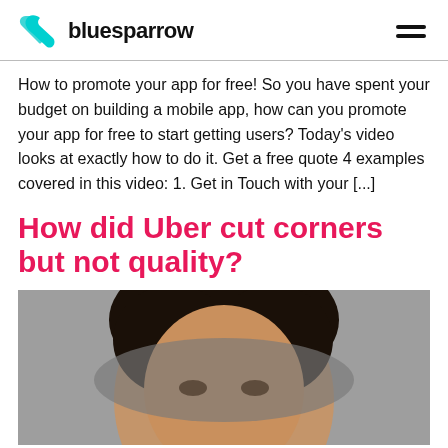bluesparrow
How to promote your app for free! So you have spent your budget on building a mobile app, how can you promote your app for free to start getting users? Today's video looks at exactly how to do it. Get a free quote 4 examples covered in this video: 1. Get in Touch with your [...]
How did Uber cut corners but not quality?
[Figure (photo): A person's head and face partially obscured by a translucent grey oval/ellipse shape overlay, photographed against a grey background.]